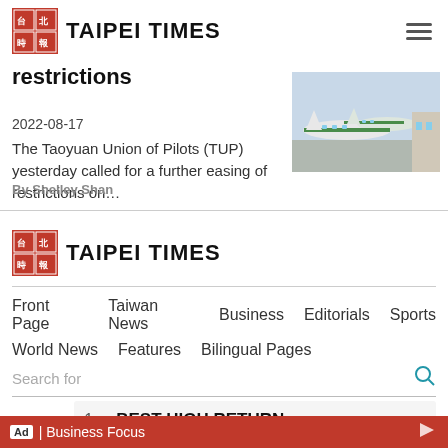TAIPEI TIMES
restrictions
2022-08-17
The Taoyuan Union of Pilots (TUP) yesterday called for a further easing of restrictions on…
By Shelley Shan
[Figure (photo): Airplanes parked at an airport terminal, green and white livery visible]
TAIPEI TIMES
Front Page   Taiwan News   Business   Editorials   Sports
World News   Features   Bilingual Pages
Search for
About U
1. BEST HIGH RETURN ›
2. WATER DAMAGED WALL REPAIR ›
Ad | Business Focus